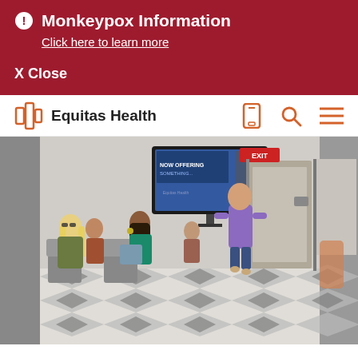Monkeypox Information
Click here to learn more
X Close
Equitas Health
[Figure (photo): Waiting room of a health clinic. Several patients are seated in modern gray chairs. A woman with long blonde hair wearing glasses sits on the left, and a woman in a teal shirt speaks with another patient. A healthcare worker in a purple shirt walks toward them through a doorway. The floor has a black and white chevron pattern. A TV screen and brochure rack are visible on the wall. An EXIT sign is above the door.]